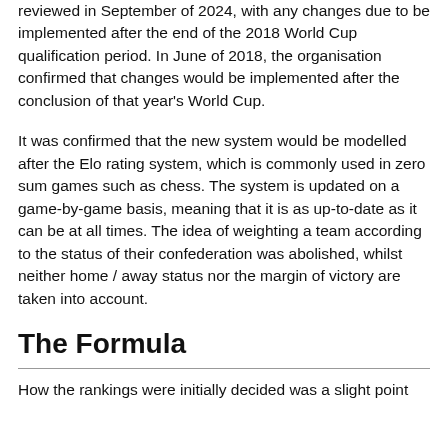reviewed in September of 2024, with any changes due to be implemented after the end of the 2018 World Cup qualification period. In June of 2018, the organisation confirmed that changes would be implemented after the conclusion of that year's World Cup.
It was confirmed that the new system would be modelled after the Elo rating system, which is commonly used in zero sum games such as chess. The system is updated on a game-by-game basis, meaning that it is as up-to-date as it can be at all times. The idea of weighting a team according to the status of their confederation was abolished, whilst neither home / away status nor the margin of victory are taken into account.
The Formula
How the rankings were initially decided was a slight point